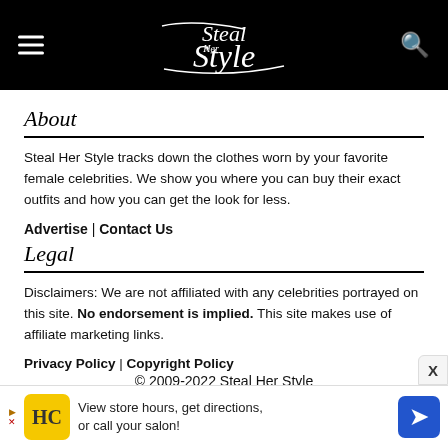Steal Her Style
About
Steal Her Style tracks down the clothes worn by your favorite female celebrities. We show you where you can buy their exact outfits and how you can get the look for less.
Advertise | Contact Us
Legal
Disclaimers: We are not affiliated with any celebrities portrayed on this site. No endorsement is implied. This site makes use of affiliate marketing links.
Privacy Policy | Copyright Policy
© 2009-2022 Steal Her Style
[Figure (logo): SHE Media Collective Lifestyle advertisement banner with orange SHE logo, teal Lifestyle button, and Learn More | Privacy links]
View store hours, get directions, or call your salon!